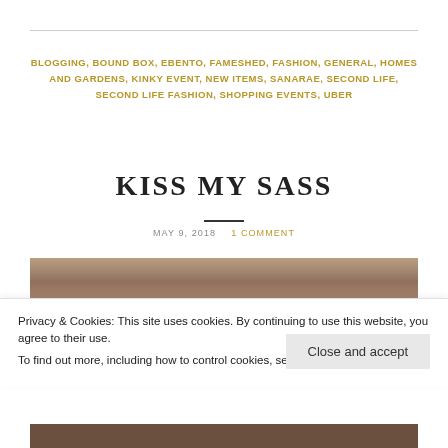BLOGGING, BOUND BOX, EBENTO, FAMESHED, FASHION, GENERAL, HOMES AND GARDENS, KINKY EVENT, NEW ITEMS, SANARAE, SECOND LIFE, SECOND LIFE FASHION, SHOPPING EVENTS, UBER
KISS MY SASS
MAY 9, 2018   1 COMMENT
[Figure (photo): Partial photo showing feet/lower body area at top, and another partial photo at bottom]
Privacy & Cookies: This site uses cookies. By continuing to use this website, you agree to their use.
To find out more, including how to control cookies, see here: Our Cookie Policy